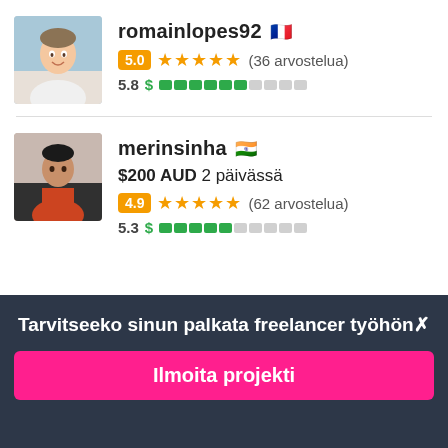[Figure (photo): Profile photo of romainlopes92 - young man smiling]
romainlopes92 🇫🇷
5.0 ★★★★★ (36 arvostelua)
5.8 $ ▓▓▓▓▓▓░░░░
[Figure (photo): Profile photo of merinsinha - person in red shirt]
merinsinha 🇮🇳
$200 AUD 2 päivässä
4.9 ★★★★★ (62 arvostelua)
5.3 $ ▓▓▓▓▓░░░░░
Tarvitseeko sinun palkata freelancer työhön✗
Ilmoita projekti